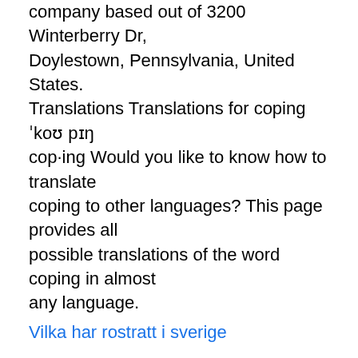company based out of 3200 Winterberry Dr, Doylestown, Pennsylvania, United States. Translations Translations for coping 'koʊ pɪŋ cop·ing Would you like to know how to translate coping to other languages? This page provides all possible translations of the word coping in almost any language.
Vilka har rostratt i sverige
to cope (även: to bear with, to bring off, to clear off, to dispatch, to get through, to knock out, to manage, to negotiate, to polish off, to pull off) coping ['kəʊpɪŋ] 1. Att klara av något på ett adekvat och konstruktivt sätt. 2.
Covid-19 coping stratgies A group of Swedish economists belonging to the SSE-CERN network Translation and Meaning of coping in Almaany